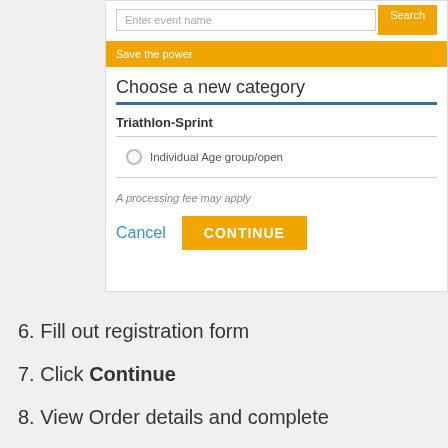[Figure (screenshot): Web UI screenshot showing a search bar with 'Enter event name' placeholder and orange Search button, an orange 'Save the power' banner, a 'Choose a new category' heading with blue underline, Triathlon-Sprint category with 'Individual Age group/open' radio option, a processing fee note, and Cancel/CONTINUE buttons.]
6. Fill out registration form
7. Click Continue
8. View Order details and complete